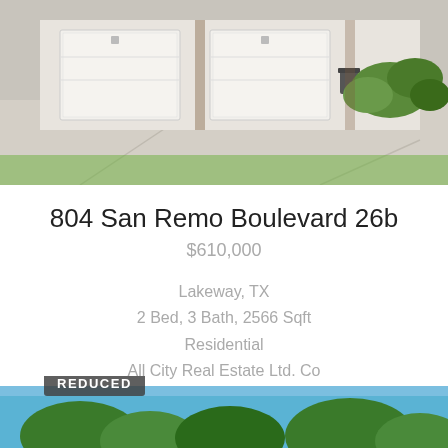[Figure (photo): Exterior photo of a house showing garage doors, concrete driveway, and landscaping with green shrubs]
804 San Remo Boulevard 26b
$610,000
Lakeway, TX
2 Bed, 3 Bath, 2566 Sqft
Residential
All City Real Estate Ltd. Co
[Figure (other): Info icon (circle with i) and star/favorite icon]
[Figure (photo): Partial bottom photo of another property listing with REDUCED badge, showing trees and sky]